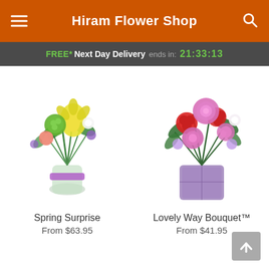Hiram Flower Shop
FREE* Next Day Delivery ends in: 21:33:13
[Figure (photo): Spring flower bouquet with yellow lilies, green pompons, and pink flowers in a glass vase with a purple ribbon]
[Figure (photo): Lovely Way Bouquet with pink roses, red carnations, and purple flowers in a square purple vase]
Spring Surprise
From $63.95
Lovely Way Bouquet™
From $41.95